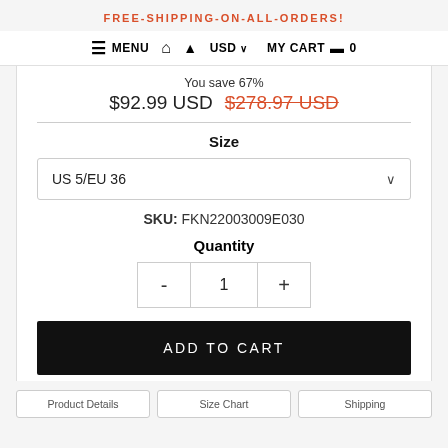FREE-SHIPPING-ON-ALL-ORDERS!
MENU  🏠  👤  USD ∨   MY CART 🛒 0
You save 67%
$92.99 USD  $278.97 USD
Size
US 5/EU 36
SKU: FKN22003009E030
Quantity
- 1 +
ADD TO CART
Product Details   Size Chart   Shipping